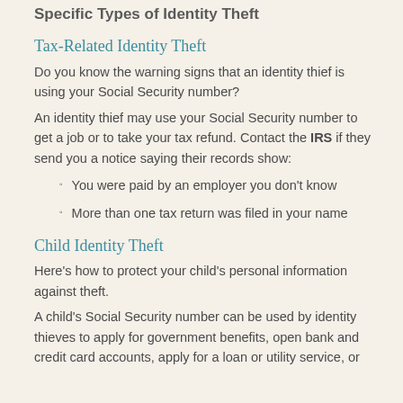Specific Types of Identity Theft
Tax-Related Identity Theft
Do you know the warning signs that an identity thief is using your Social Security number?
An identity thief may use your Social Security number to get a job or to take your tax refund. Contact the IRS if they send you a notice saying their records show:
You were paid by an employer you don't know
More than one tax return was filed in your name
Child Identity Theft
Here's how to protect your child's personal information against theft.
A child's Social Security number can be used by identity thieves to apply for government benefits, open bank and credit card accounts, apply for a loan or utility service, or